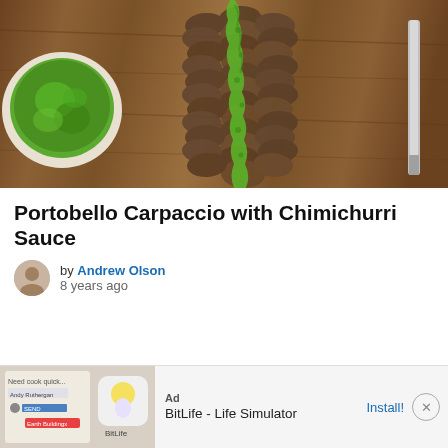[Figure (photo): Overhead photo of Portobello Carpaccio with green chimichurri sauce drizzled over arranged portobello mushroom slices on a wooden board, with a white bowl of chimichurri sauce on the left and a knife on the right]
Portobello Carpaccio with Chimichurri Sauce
by Andrew Olson
8 years ago
[Figure (screenshot): Advertisement banner for BitLife - Life Simulator app with app icon and Install! button]